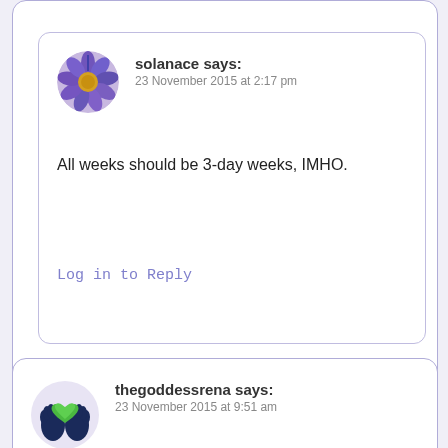Log in to Reply
solanace says:
23 November 2015 at 2:17 pm
All weeks should be 3-day weeks, IMHO.
Log in to Reply
thegoddessrena says:
23 November 2015 at 9:51 am
Since my decant of Lush Potion evaporated (so sad), I clearly have to wear some other precious, so vintage